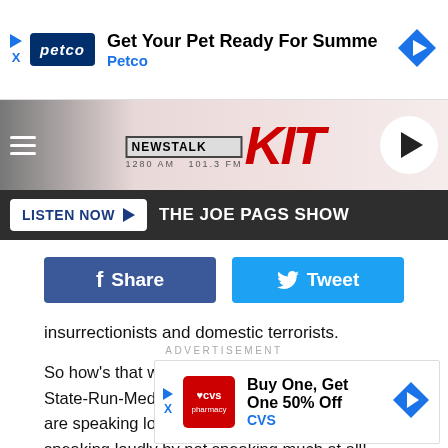[Figure (screenshot): Petco advertisement banner: 'Get Your Pet Ready For Summe' with Petco logo and navigation arrow]
[Figure (logo): Newstalk KIT 1280 AM 101.3 FM radio station header logo with hamburger menu and play button]
LISTEN NOW ▶  THE JOE PAGS SHOW
[Figure (screenshot): Facebook Share button and Twitter Tweet button]
insurrectionists and domestic terrorists.
So how's that working out?  Remember this isn't State-Run-Media.  Viewers have a choice and they are speaking loudly...or should I say they are speaking loudly by not speaking much at all!
ADVERTISEMENT
[Figure (screenshot): CVS Pharmacy advertisement: 'Buy One, Get One 50% Off' with CVS logo]